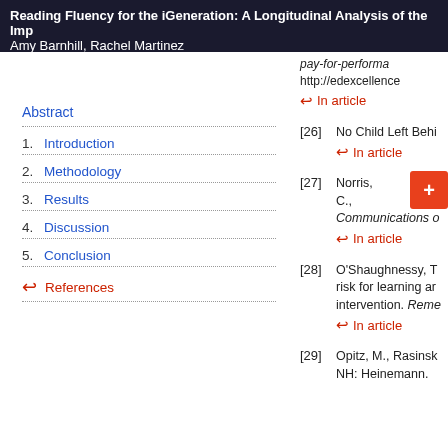Reading Fluency for the iGeneration: A Longitudinal Analysis of the Imp...
Amy Barnhill, Rachel Martinez
Abstract
1. Introduction
2. Methodology
3. Results
4. Discussion
5. Conclusion
References
pay-for-performa...
http://edexcellence
↵ In article
[26] No Child Left Behi...
↵ In article
[27] Norris, C., ... Communications o...
↵ In article
[28] O'Shaughnessy, T... risk for learning ar... intervention. Reme...
↵ In article
[29] Opitz, M., Rasinsk... NH: Heinemann.